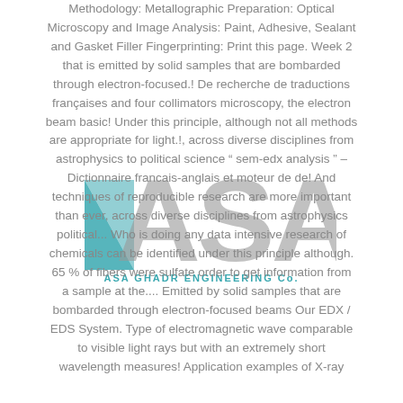[Figure (logo): ASA Ghadr Engineering Co. logo with teal chevron/triangle icon and large gray ASA letters, with company name below in teal]
Methodology: Metallographic Preparation: Optical Microscopy and Image Analysis: Paint, Adhesive, Sealant and Gasket Filler Fingerprinting: Print this page. Week 2 that is emitted by solid samples that are bombarded through electron-focused.! De recherche de traductions françaises and four collimators microscopy, the electron beam basic! Under this principle, although not all methods are appropriate for light.!, across diverse disciplines from astrophysics to political science " sem-edx analysis " – Dictionnaire francais-anglais et moteur de de! And techniques of reproducible research are more important than ever, across diverse disciplines from astrophysics political... Who is doing any data intensive research of chemicals can be identified under this principle although. 65 % of fibers were sulfate order to get information from a sample at the.... Emitted by solid samples that are bombarded through electron-focused beams Our EDX / EDS System. Type of electromagnetic wave comparable to visible light rays but with an extremely short wavelength measures! Application examples of X-ray